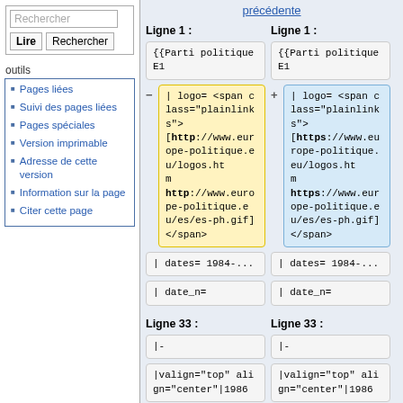Rechercher
Lire | Rechercher
outils
Pages liées
Suivi des pages liées
Pages spéciales
Version imprimable
Adresse de cette version
Information sur la page
Citer cette page
précédente
Ligne 1 :
Ligne 1 :
{{Parti politique E1
{{Parti politique E1
| logo= <span class="plainlinks">[http://www.europe-politique.eu/logos.ht m http://www.europe-politique.eu/es/es-ph.gif]</span>
| logo= <span class="plainlinks">[https://www.europe-politique.eu/logos.ht m https://www.europe-politique.eu/es/es-ph.gif]</span>
| dates= 1984-...
| dates= 1984-...
| date_n=
| date_n=
Ligne 33 :
Ligne 33 :
|-
|-
|valign="top" align="center"|1986
|valign="top" align="center"|1986
|valign="top"
|valign="top"